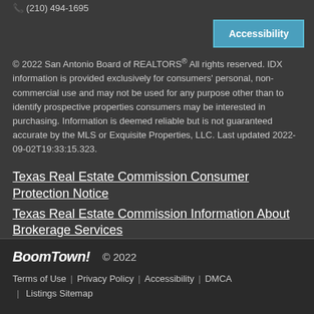(210) 494-1695
Accessibility
© 2022 San Antonio Board of REALTORS® All rights reserved. IDX information is provided exclusively for consumers' personal, non-commercial use and may not be used for any purpose other than to identify prospective properties consumers may be interested in purchasing. Information is deemed reliable but is not guaranteed accurate by the MLS or Exquisite Properties, LLC. Last updated 2022-09-02T19:33:15.323.
Texas Real Estate Commission Consumer Protection Notice
Texas Real Estate Commission Information About Brokerage Services
BoomTown! © 2022 | Terms of Use | Privacy Policy | Accessibility | DMCA | Listings Sitemap